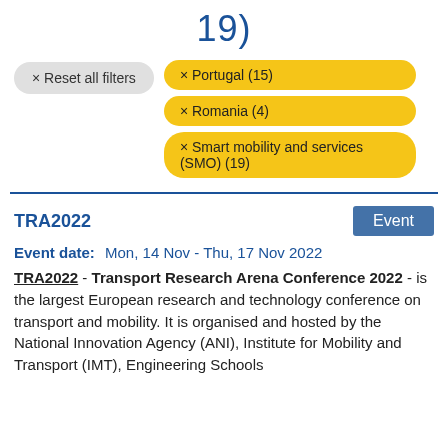19)
× Reset all filters
× Portugal (15)
× Romania (4)
× Smart mobility and services (SMO) (19)
TRA2022
Event
Event date:  Mon, 14 Nov - Thu, 17 Nov 2022
TRA2022 - Transport Research Arena Conference 2022 - is the largest European research and technology conference on transport and mobility. It is organised and hosted by the National Innovation Agency (ANI), Institute for Mobility and Transport (IMT), Engineering Schools